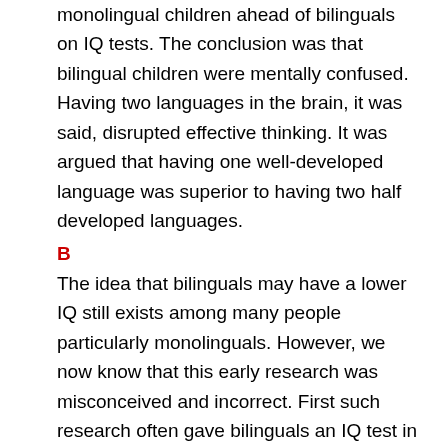monolingual children ahead of bilinguals on IQ tests. The conclusion was that bilingual children were mentally confused. Having two languages in the brain, it was said, disrupted effective thinking. It was argued that having one well-developed language was superior to having two half developed languages.
B
The idea that bilinguals may have a lower IQ still exists among many people particularly monolinguals. However, we now know that this early research was misconceived and incorrect. First such research often gave bilinguals an IQ test in their weaker language – usually English. Had bilinguals been tested in Welsh or Spanish or Hebrew, a different result may have been found. The testing of bilinguals was thus unfair. Second, like was not compared with like. Bilinguals had to compete from references...